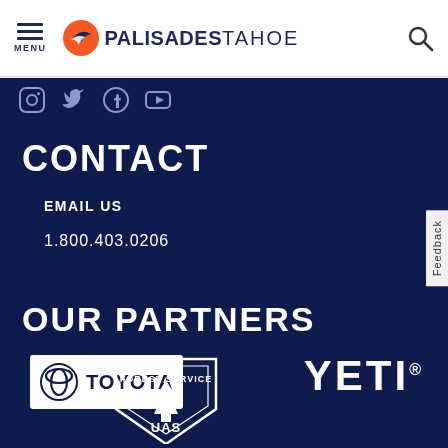[Figure (logo): Palisades Tahoe website header with hamburger menu, Palisades Tahoe logo (orange circle bird icon + bold text), and search icon on white background]
[Figure (logo): Social media icons row (Instagram, Twitter, Facebook, YouTube) on dark navy background]
CONTACT
EMAIL US
1.800.403.0206
OUR PARTNERS
[Figure (logo): Toyota logo (white box with Toyota circular symbol and TOYOTA text in navy)]
[Figure (logo): YETI logo in large white bold text]
[Figure (logo): US Forest Service shield logo at bottom]
Feedback